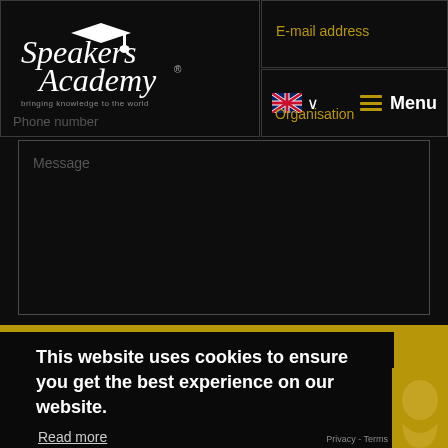[Figure (logo): Speakers Academy logo with mortarboard icon and tagline 'bringing knowledge to the world']
E-mail address
Phone number
Organisation
Menu
Message
This website uses cookies to ensure you get the best experience on our website.
Read more
Close
Privacy - Terms